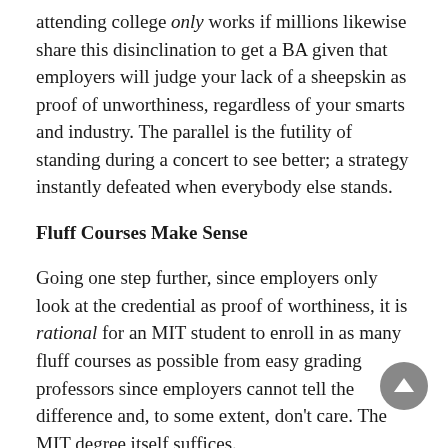attending college only works if millions likewise share this disinclination to get a BA given that employers will judge your lack of a sheepskin as proof of unworthiness, regardless of your smarts and industry. The parallel is the futility of standing during a concert to see better; a strategy instantly defeated when everybody else stands.
Fluff Courses Make Sense
Going one step further, since employers only look at the credential as proof of worthiness, it is rational for an MIT student to enroll in as many fluff courses as possible from easy grading professors since employers cannot tell the difference and, to some extent, don’t care. The MIT degree itself suffices.
To make his case scientifically, Caplan marshals massive quantities of evidence and is totally unafraid of offering